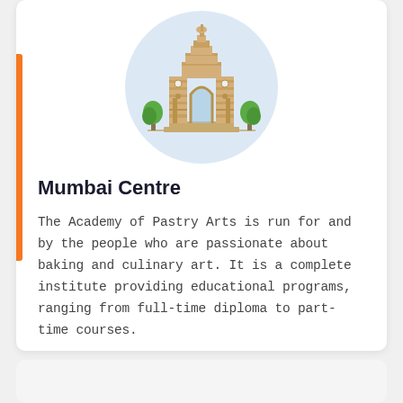[Figure (illustration): India Gate monument illustration inside a light blue circle, with two green trees flanking the base of the arch]
Mumbai Centre
The Academy of Pastry Arts is run for and by the people who are passionate about baking and culinary art. It is a complete institute providing educational programs, ranging from full-time diploma to part-time courses.
EXPLORE